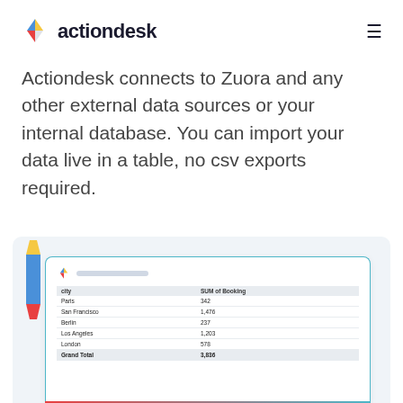actiondesk
Actiondesk connects to Zuora and any other external data sources or your internal database. You can import your data live in a table, no csv exports required.
[Figure (screenshot): Screenshot of Actiondesk spreadsheet interface showing a table with columns City and SUM of Booking. Rows: Paris 342, San Francisco 1,476, Berlin 237, Los Angeles 1,203, London 578, Grand Total 3,836.]